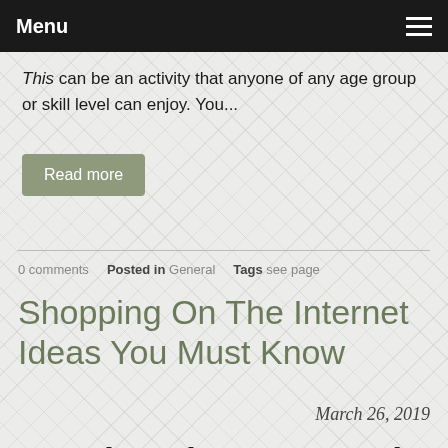Menu
This can be an activity that anyone of any age group or skill level can enjoy. You...
Read more
0 comments   Posted in General   Tags see page
Shopping On The Internet Ideas You Must Know
March 26, 2019
Receive The Best Deals Online With One Of These